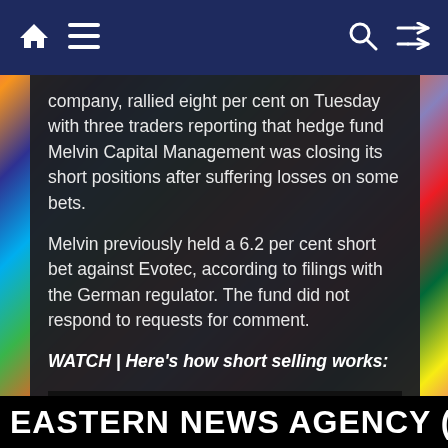Navigation bar with home, menu, search, and shuffle icons
company, rallied eight per cent on Tuesday with three traders reporting that hedge fund Melvin Capital Management was closing its short positions after suffering losses on some bets.
Melvin previously held a 6.2 per cent short bet against Evotec, according to filings with the German regulator. The fund did not respond to requests for comment.
WATCH | Here’s how short selling works:
[Figure (screenshot): Video player placeholder showing animated explanation of short selling]
An animated explanation of how people make money from stocks losing value 0:46
Short sellers typically bet against stocks of companies
EASTERN NEWS AGENCY (E